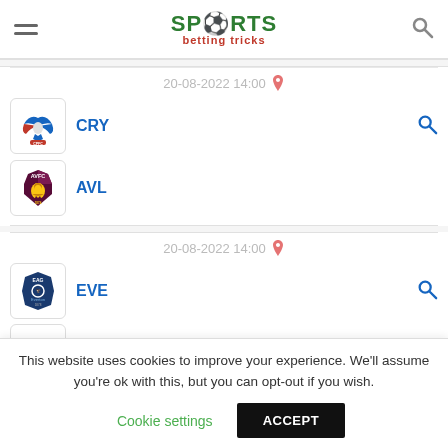SPORTS betting tricks
20-08-2022 14:00
CRY
AVL
20-08-2022 14:00
EVE
NTF (partially visible)
This website uses cookies to improve your experience. We'll assume you're ok with this, but you can opt-out if you wish.
Cookie settings
ACCEPT